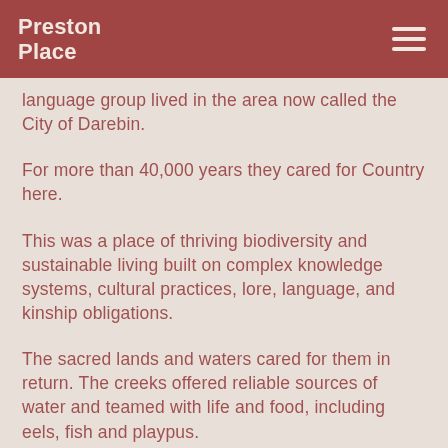Preston Place
language group lived in the area now called the City of Darebin.
For more than 40,000 years they cared for Country here.
This was a place of thriving biodiversity and sustainable living built on complex knowledge systems, cultural practices, lore, language, and kinship obligations.
The sacred lands and waters cared for them in return. The creeks offered reliable sources of water and teamed with life and food, including eels, fish and playpus.
Silcrete outcrops at Mount Cooper (now part of